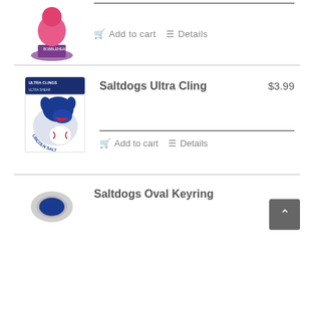[Figure (photo): Product image - bobblehead figure with pink/red top, partially visible at top of page]
Add to cart   Details
[Figure (photo): Saltdogs Ultra Cling product image - Lincoln Saltdogs logo with dog mascot holding baseball]
Saltdogs Ultra Cling
$3.99
Add to cart   Details
[Figure (photo): Saltdogs Oval Keyring product image - partially visible at bottom]
Saltdogs Oval Keyring